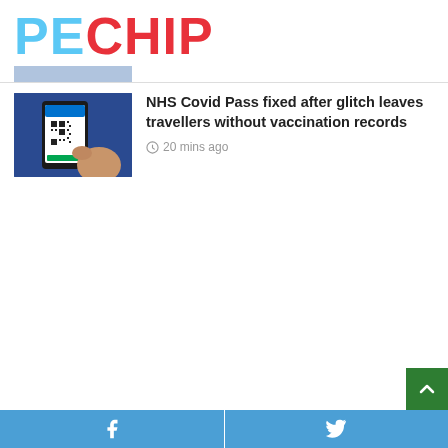PECHIP
[Figure (photo): Partial view of a thumbnail image at the top, partially cropped]
[Figure (photo): Person holding a smartphone showing NHS Covid Pass app with QR code on screen]
NHS Covid Pass fixed after glitch leaves travellers without vaccination records
20 mins ago